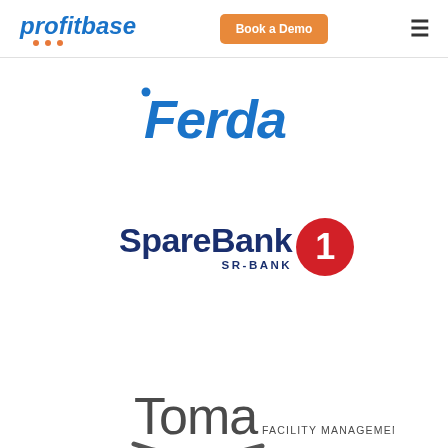[Figure (logo): Profitbase logo — italic bold blue text with orange dotted underline]
[Figure (logo): Book a Demo orange button]
[Figure (logo): Ferda logo — italic bold blue text]
[Figure (logo): SpareBank 1 SR-Bank logo — dark navy bold text with red circle containing number 1]
[Figure (logo): Toma Facility Management logo — grey text with swoosh arc underline]